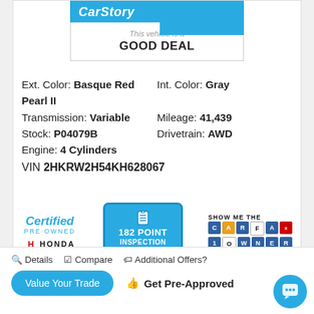[Figure (logo): CarStory logo bar with blue background and 'GOOD DEAL' text]
Ext. Color: Basque Red Pearl II    Int. Color: Gray
Transmission: Variable    Mileage: 41,439
Stock: P04079B    Drivetrain: AWD
Engine: 4 Cylinders
VIN 2HKRW2H54KH628067
[Figure (logo): Honda Certified Pre-Owned logo, 182 Point Inspection badge, CARFAX 1 Owner logo]
Details  Compare  Additional Offers?
Value Your Trade    Get Pre-Approved